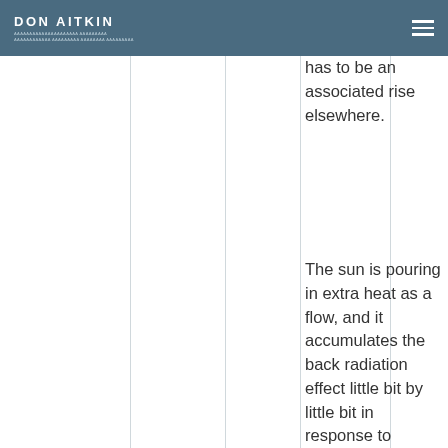DON AITKIN
has to be an associated rise elsewhere.
The sun is pouring in extra heat as a flow, and it accumulates the back radiation effect little bit by little bit in response to